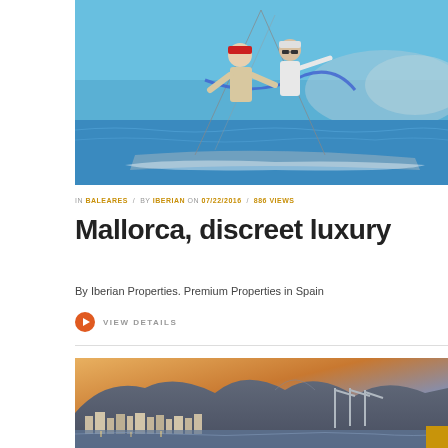[Figure (photo): Two people on a sailboat at sea, one wearing a red cap and the other wearing white sunglasses, pulling ropes/rigging on a sunny day with blue water in the background]
IN BALEARES / BY IBERIAN ON 07/22/2016 / 886 VIEWS
Mallorca, discreet luxury
By Iberian Properties. Premium Properties in Spain
VIEW DETAILS
[Figure (photo): Coastal town at dusk or dawn with mountains in the background, buildings along the waterfront, and port infrastructure including cranes visible]